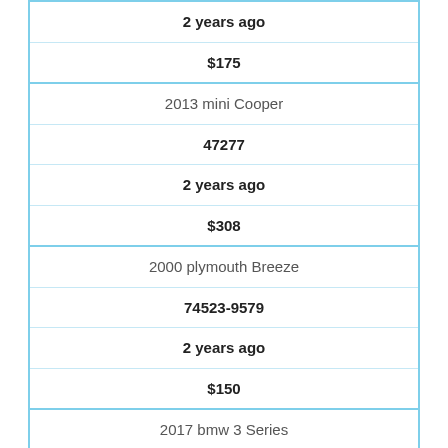| 2 years ago |
| $175 |
| 2013 mini Cooper |
| 47277 |
| 2 years ago |
| $308 |
| 2000 plymouth Breeze |
| 74523-9579 |
| 2 years ago |
| $150 |
| 2017 bmw 3 Series |
| 65860 |